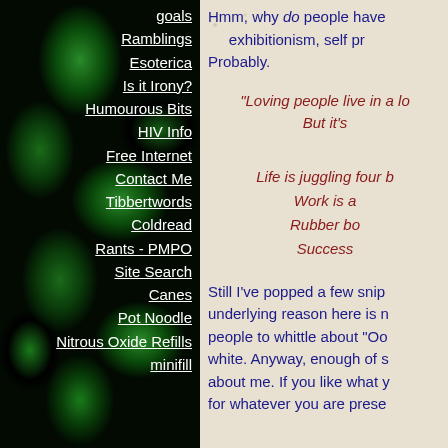goals
Ramblings
Esoterica
Is it Irony?
Humourous Bits
HIV Info
Free Internet
Contact Me
Tibbertwords
Coldread
Rants - PMPO
Site Search
Canes
Pot Noodle
Nitrous Oxide Refills
minifill
Hmm, why do people have exhibitionism, self pr... Probably.
"Loving people live in a lo... But it's
Life is juggling four b... Work is a... Rubber bo... Success...
Still I've popped a few snip... underlying reason here is n... people to whittle about "Oo... white. Anyway, enough of s... about me. If you like what y... for whatever you are prese...